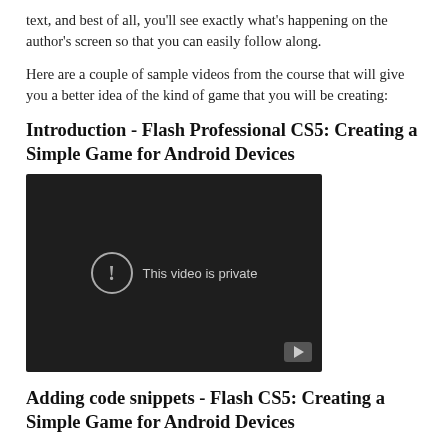text, and best of all, you'll see exactly what's happening on the author's screen so that you can easily follow along.
Here are a couple of sample videos from the course that will give you a better idea of the kind of game that you will be creating:
Introduction - Flash Professional CS5: Creating a Simple Game for Android Devices
[Figure (screenshot): Embedded video player showing 'This video is private' message with a circle exclamation icon and a YouTube play button in the bottom right corner. Dark background.]
Adding code snippets - Flash CS5: Creating a Simple Game for Android Devices